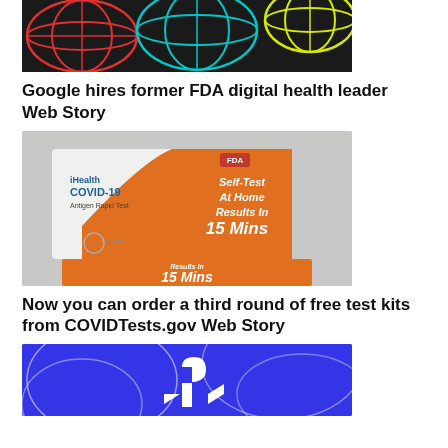[Figure (photo): Colorful 3D grid globe shapes on dark background — partial view cropped at top]
Google hires former FDA digital health leader Web Story
[Figure (photo): iHealth COVID-19 Antigen Rapid Test box — orange and white box showing 'Self-Test At Home Results In 15 Mins', FDA approved]
Now you can order a third round of free test kits from COVIDTests.gov Web Story
[Figure (photo): PlayStation logo on blue/purple background with abstract white curved lines]